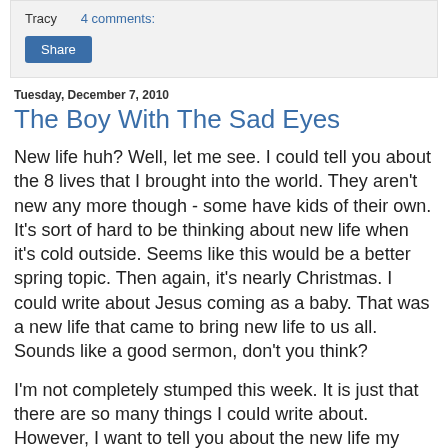Tracy    4 comments:
Share
Tuesday, December 7, 2010
The Boy With The Sad Eyes
New life huh?  Well, let me see.  I could tell you about the 8 lives that I brought into the world.  They aren't new any more though - some have kids of their own.  It's sort of hard to be thinking about new life when it's cold outside.  Seems like this would be a better spring topic.  Then again, it's nearly Christmas.  I could write about Jesus coming as a baby.  That was a new life that came to bring new life to us all.  Sounds like a good sermon, don't you think?
I'm not completely stumped this week.  It is just that there are so many things I could write about.  However, I want to tell you about the new life my grandson just found.  He is 17.  I love it when people tell me I don't look old enough to have a